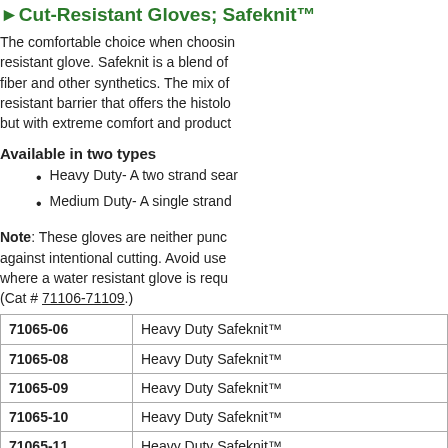▶Cut-Resistant Gloves; Safeknit™
The comfortable choice when choosing a cut-resistant glove. Safeknit is a blend of fiber and other synthetics. The mix of resistant barrier that offers the histological but with extreme comfort and productivity.
Available in two types
Heavy Duty- A two strand sear…
Medium Duty- A single strand…
Note: These gloves are neither puncture resistant against intentional cutting. Avoid use where a water resistant glove is required. (Cat # 71106-71109.)
| Cat # | Description |
| --- | --- |
| 71065-06 | Heavy Duty Safeknit™ |
| 71065-08 | Heavy Duty Safeknit™ |
| 71065-09 | Heavy Duty Safeknit™ |
| 71065-10 | Heavy Duty Safeknit™ |
| 71065-11 | Heavy Duty Safeknit™ |
| 71066-06 | Medium Duty Safeknit™ |
| 71066-07 | Medium Duty Safeknit™ |